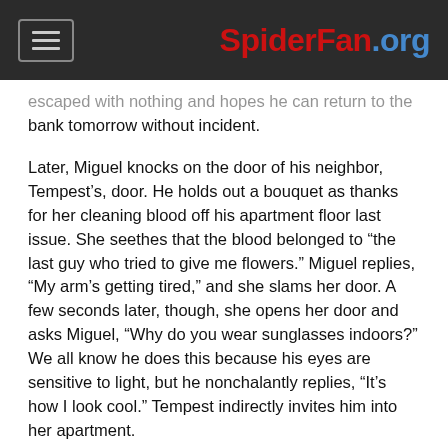SpiderFan.org
…escaped with nothing and hopes he can return to the bank tomorrow without incident.
Later, Miguel knocks on the door of his neighbor, Tempest's, door. He holds out a bouquet as thanks for her cleaning blood off his apartment floor last issue. She seethes that the blood belonged to “the last guy who tried to give me flowers.” Miguel replies, “My arm’s getting tired,” and she slams her door. A few seconds later, though, she opens her door and asks Miguel, “Why do you wear sunglasses indoors?” We all know he does this because his eyes are sensitive to light, but he nonchalantly replies, “It’s how I look cool.” Tempest indirectly invites him into her apartment.
Inside, Miguel asks if Tempest likes sports because she has many posters of it hung on her walls. She explains, “My dad wanted a boy. When I turned out to be a girl, he …”